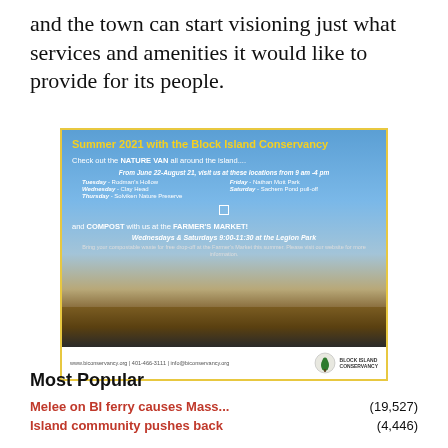and the town can start visioning just what services and amenities it would like to provide for its people.
[Figure (infographic): Block Island Conservancy advertisement for Summer 2021 featuring the Nature Van schedule and Compost at the Farmer's Market program, with a landscape photo of Block Island in the background.]
Most Popular
Melee on BI ferry causes Mass... (19,527)
Island community pushes back (4,446)